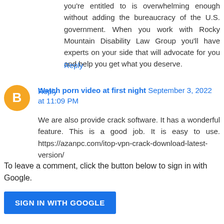you're entitled to is overwhelming enough without adding the bureaucracy of the U.S. government. When you work with Rocky Mountain Disability Law Group you'll have experts on your side that will advocate for you and help you get what you deserve.
Reply
Watch porn video at first night  September 3, 2022 at 11:09 PM
We are also provide crack software. It has a wonderful feature. This is a good job. It is easy to use. https://azanpc.com/itop-vpn-crack-download-latest-version/
Reply
To leave a comment, click the button below to sign in with Google.
SIGN IN WITH GOOGLE